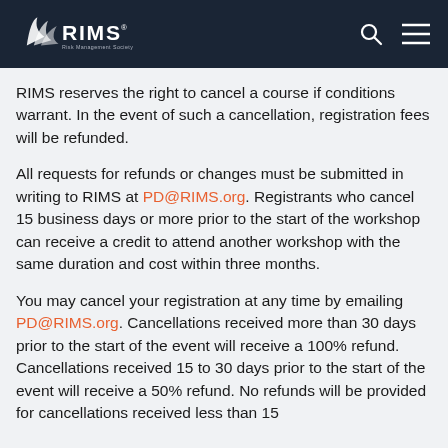RIMS
RIMS reserves the right to cancel a course if conditions warrant. In the event of such a cancellation, registration fees will be refunded.
All requests for refunds or changes must be submitted in writing to RIMS at PD@RIMS.org. Registrants who cancel 15 business days or more prior to the start of the workshop can receive a credit to attend another workshop with the same duration and cost within three months.
You may cancel your registration at any time by emailing PD@RIMS.org. Cancellations received more than 30 days prior to the start of the event will receive a 100% refund. Cancellations received 15 to 30 days prior to the start of the event will receive a 50% refund. No refunds will be provided for cancellations received less than 15